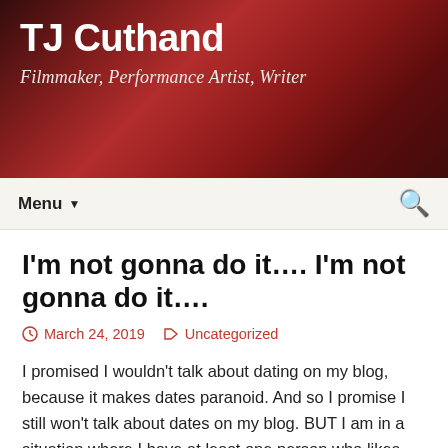TJ Cuthand
Filmmaker, Performance Artist, Writer
I'm not gonna do it…. I'm not gonna do it….
March 24, 2019   Uncategorized
I promised I wouldn't talk about dating on my blog, because it makes dates paranoid. And so I promise I still won't talk about dates on my blog. BUT I am in a situation where I have at least one person who likes getting flirts from me, and maybe someone else to hang out with which could be a date or maybe she just thinks I could be a neat friend I don't know but she's super cute. And then there's